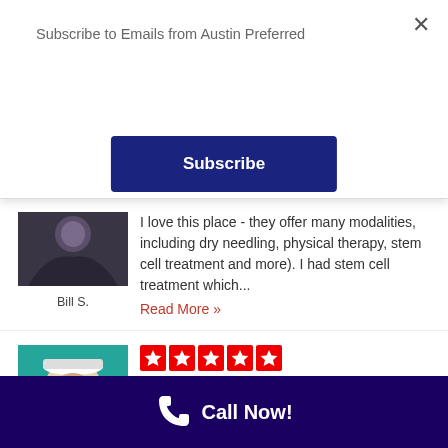Subscribe to Emails from Austin Preferred
Subscribe
[Figure (photo): Profile photo of Bill S., a person in dark clothing]
Bill S.
I love this place - they offer many modalities, including dry needling, physical therapy, stem cell treatment and more). I had stem cell treatment which...
Read More »
[Figure (photo): Profile photo of Charlotte M., a woman with sunglasses on teal background]
Charlotte M.
4/30/2022
Dr. Fluitt and his team are AMAZING! Dr. Fluitt is so nice and skilled, and has created a phenomenal team and setup, where you get truly integrated...
Read More »
Call Now!